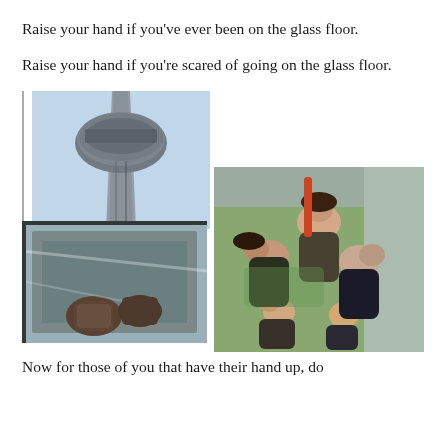Raise your hand if you've ever been on the glass floor.
Raise your hand if you're scared of going on the glass floor.
[Figure (photo): View looking up at the CN Tower from below, showing the observation deck pod against a blue sky]
[Figure (photo): View looking down through a glass floor showing feet in boots and the ground far below]
[Figure (photo): Group of children and adults lying on a glass floor, photographed from above, faces visible looking up]
Now for those of you that have their hand up, do